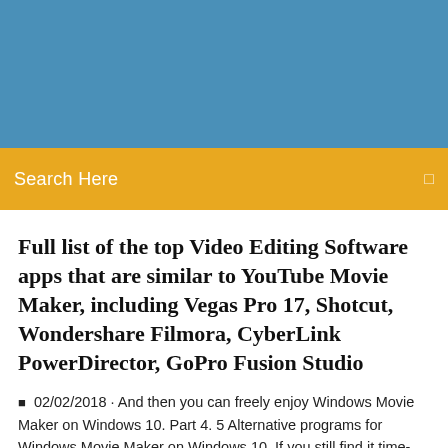[Figure (other): Blue banner header image area]
Search Here
Full list of the top Video Editing Software apps that are similar to YouTube Movie Maker, including Vegas Pro 17, Shotcut, Wondershare Filmora, CyberLink PowerDirector, GoPro Fusion Studio
02/02/2018 · And then you can freely enjoy Windows Movie Maker on Windows 10. Part 4. 5 Alternative programs for Windows Movie Maker on Windows 10. If you still find it time-consuming to